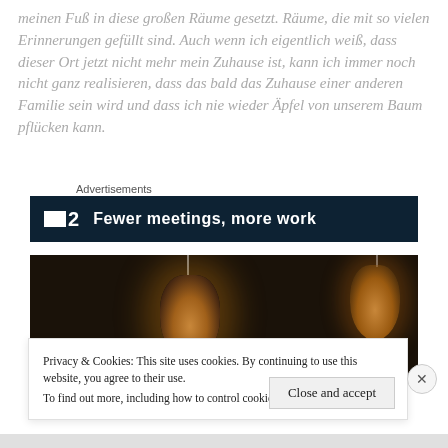meinen Fuß in diese großen Räume gesetzt. Räume, die mit so vielen Erinnerungen gefüllt sind. Auch wenn ich eigentlich weiß, dass dieser Ort jetzt nicht mehr mein Zuhause ist, kann ich immer noch nicht ganz realisieren, dass das bald das Zuhause einer anderen Familie sein wird und dass ich nie wieder Äpfel von unserem Baum pflücken kann.
Advertisements
[Figure (screenshot): Dark advertisement banner with white square icon, number '2', and bold white text 'Fewer meetings, more work']
[Figure (photo): Dark photograph showing hanging pendant lamps with warm amber/orange glowing bulbs against a very dark background]
Privacy & Cookies: This site uses cookies. By continuing to use this website, you agree to their use. To find out more, including how to control cookies, see here: Cookie Policy
Close and accept